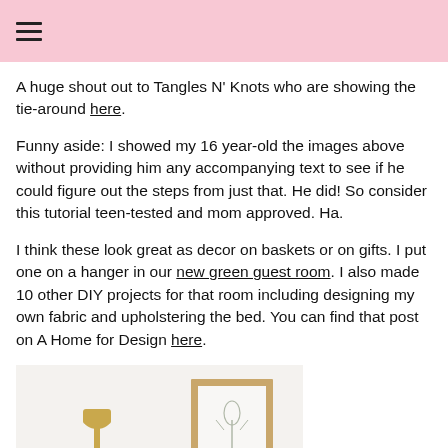☰
A huge shout out to Tangles N' Knots who are showing the tie-around here.
Funny aside: I showed my 16 year-old the images above without providing him any accompanying text to see if he could figure out the steps from just that. He did! So consider this tutorial teen-tested and mom approved. Ha.
I think these look great as decor on baskets or on gifts. I put one on a hanger in our new green guest room. I also made 10 other DIY projects for that room including designing my own fabric and upholstering the bed. You can find that post on A Home for Design here.
[Figure (photo): Photo showing a room interior with a gold wall lamp and a framed artwork on a white/light wall, with some greenery visible at the bottom left.]